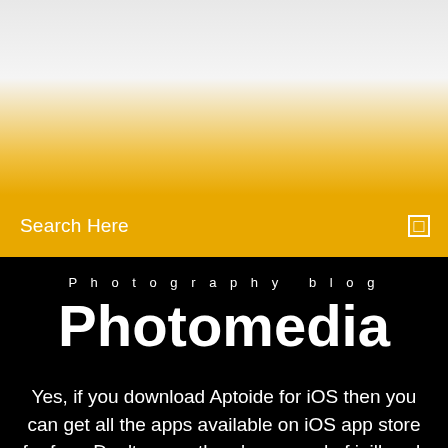[Figure (photo): Top area with light gray/white and golden yellow gradient background, representing a partially visible image or banner area at the top of the page.]
Search Here
Photography blog
Photomedia
Yes, if you download Aptoide for iOS then you can get all the apps available on iOS app store for free. Don't worry, there's no need of jailbreak for downloading and installing Aptoide. Now that you've realized the advantages of Aptoide, I'm sure you're curious to download Aptoide iOS in